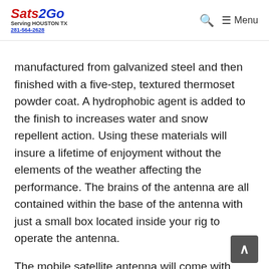Sats2Go | Serving HOUSTON TX | 281-564-2628 | Menu
manufactured from galvanized steel and then finished with a five-step, textured thermoset powder coat. A hydrophobic agent is added to the finish to increases water and snow repellent action. Using these materials will insure a lifetime of enjoyment without the elements of the weather affecting the performance. The brains of the antenna are all contained within the base of the antenna with just a small box located inside your rig to operate the antenna.
The mobile satellite antenna will come with everything needed to install (except for sealer).